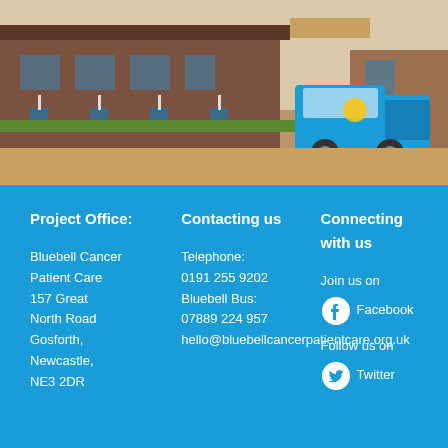[Figure (photo): Exterior photo of Bluebell Cancer Patient Care building with a blue branded van parked outside]
Project Office:

Bluebell Cancer Patient Care
157 Great North Road
Gosforth,
Newcastle,
NE3 2DR
Contacting us

Telephone:
0191 255 9202
Bluebell Bus:
07889 224 957
hello@bluebellcancerpatientcare.org.uk
Connecting with us

Join us on
Facebook

Follow us on
Twitter